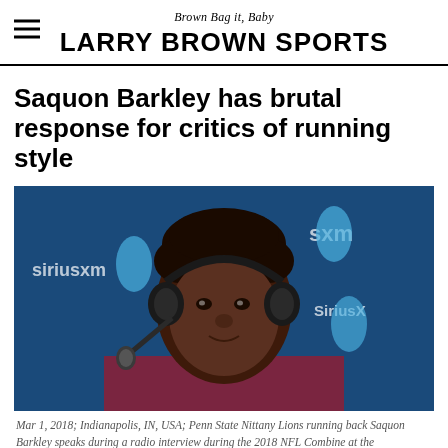Brown Bag it, Baby
LARRY BROWN SPORTS
Saquon Barkley has brutal response for critics of running style
[Figure (photo): Saquon Barkley wearing a headset speaking during a radio interview at the 2018 NFL Combine at the Indianapolis Convention Center, with SiriusXM branding visible in the background.]
Mar 1, 2018; Indianapolis, IN, USA; Penn State Nittany Lions running back Saquon Barkley speaks during a radio interview during the 2018 NFL Combine at the Indianapolis Convention Center. Mandatory Credit: